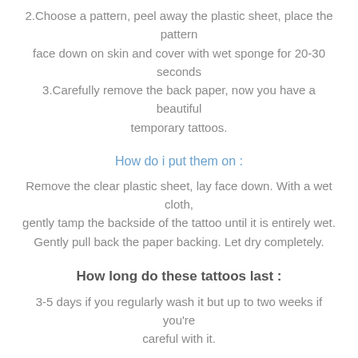2.Choose a pattern, peel away the plastic sheet, place the pattern face down on skin and cover with wet sponge for 20-30 seconds 3.Carefully remove the back paper, now you have a beautiful temporary tattoos.
How do i put them on :
Remove the clear plastic sheet, lay face down. With a wet cloth, gently tamp the backside of the tattoo until it is entirely wet. Gently pull back the paper backing. Let dry completely.
How long do these tattoos last :
3-5 days if you regularly wash it but up to two weeks if you're careful with it.
How to Remove :